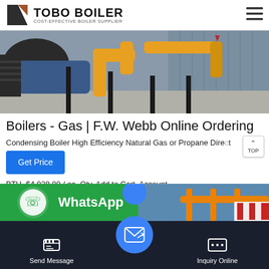TOBO BOILER — COST-EFFECTIVE BOILER SUPPLIER
[Figure (photo): Industrial boiler installation with yellow pipes and black metal scaffolding inside a warehouse]
Boilers - Gas | F.W. Webb Online Ordering
Condensing Boiler High Efficiency Natural Gas or Propane Direct BTU. $4,028.80 / ea. Qty. Add to Cart. Account er. Compare. Lochinvar NKC199N. Condensing Boiler Noble Combination Natural Gas Modulating Direct-Vent...
[Figure (screenshot): Bottom strip showing WhatsApp logo and orange industrial equipment, with toolbar showing Send Message and Inquiry Online buttons]